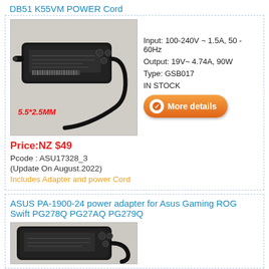DB51 K55VM POWER Cord
[Figure (photo): Photo of a black laptop power adapter/charger brick with cable. Label '5.5*2.5MM' shown in red italic text on the image.]
Price:NZ $49
Pcode : ASU17328_3
(Update On August.2022)
Includes Adapter and power Cord
Input: 100-240V ~ 1.5A, 50 - 60Hz
Output: 19V~ 4.74A, 90W
Type: GSB017
IN STOCK
More details
ASUS PA-1900-24 power adapter for Asus Gaming ROG Swift PG278Q PG27AQ PG279Q
[Figure (photo): Partial photo of a black laptop power adapter/charger brick, partially visible at bottom of page.]